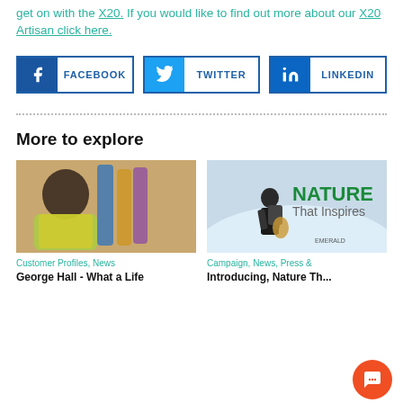get on with the X20. If you would like to find out more about our X20 Artisan click here.
[Figure (infographic): Social share buttons for Facebook, Twitter, and LinkedIn]
More to explore
[Figure (photo): Elderly man in tie-dye shirt sitting in front of guitars]
Customer Profiles, News
George Hall - What a Life
[Figure (photo): Hiker in snowy landscape with 'NATURE That Inspires' text and Emerald logo]
Campaign, News, Press &
Introducing, Nature Th...